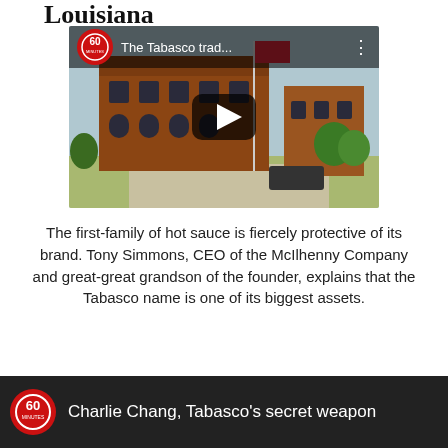Louisiana
[Figure (screenshot): 60 Minutes video thumbnail showing a brick building with a flag, titled 'The Tabasco trad...' with a play button overlay]
The first-family of hot sauce is fiercely protective of its brand. Tony Simmons, CEO of the McIlhenny Company and great-great grandson of the founder, explains that the Tabasco name is one of its biggest assets.
[Figure (screenshot): 60 Minutes video thumbnail titled 'Charlie Chang, Tabasco's secret weapon']